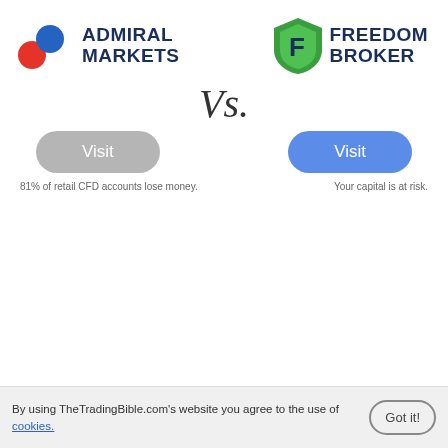[Figure (logo): Admiral Markets logo with colored circles and bold text]
[Figure (logo): Freedom Broker logo with green shield and bold text]
Vs.
[Figure (other): Gray Visit button for Admiral Markets]
[Figure (other): Blue Visit button for Freedom Broker]
81% of retail CFD accounts lose money.
Your capital is at risk.
any country or jurisdiction where such distribution or use would be contrary to local law or regulation.
CFDs are complex instruments and come with a high risk of losing money rapidly due to leverage. 74-89% of retail investor accounts lose money when trading CFDs. You should consider whether you understand how CFDs work and whether you can afford to take the high risk of losing your money.
Advertiser Disclosure: when you click in some of the links in our
By using TheTradingBible.com's website you agree to the use of cookies.